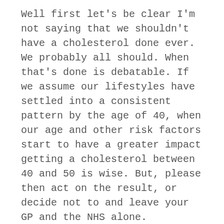Well first let's be clear I'm not saying that we shouldn't have a cholesterol done ever. We probably all should. When that's done is debatable. If we assume our lifestyles have settled into a consistent pattern by the age of 40, when our age and other risk factors start to have a greater impact getting a cholesterol between 40 and 50 is wise. But, please then act on the result, or decide not to and leave your GP and the NHS alone.
Live with your decision. Lowering cholesterol levels and reducing the impact on your cardiovascular risks is a long process so start early or decide to live life the way you want to and accept the consequences (premature heart and stroke disease, earlier cognitive decline